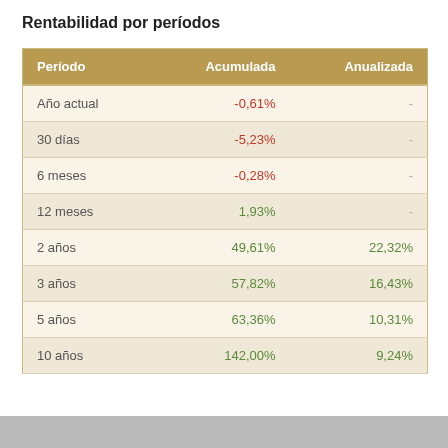Rentabilidad por períodos
| Período | Acumulada | Anualizada |
| --- | --- | --- |
| Año actual | -0,61% | - |
| 30 días | -5,23% | - |
| 6 meses | -0,28% | - |
| 12 meses | 1,93% | - |
| 2 años | 49,61% | 22,32% |
| 3 años | 57,82% | 16,43% |
| 5 años | 63,36% | 10,31% |
| 10 años | 142,00% | 9,24% |